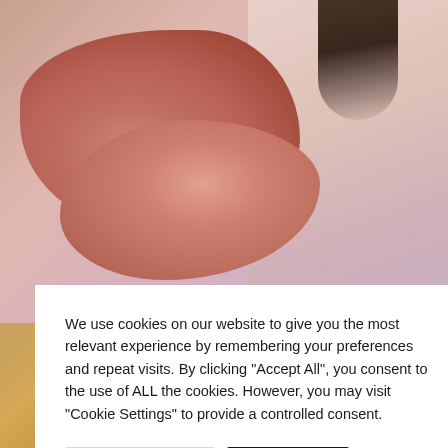[Figure (photo): Close-up photo of a person's face showing lips and skin, with dark hair visible. Background shows pinkish-lavender tones.]
[Figure (photo): Bottom-left section showing close-up skin texture with warm golden-brown tones.]
[Figure (photo): Bottom-right section showing close-up of light-colored hair with a stacked-layers icon visible.]
We use cookies on our website to give you the most relevant experience by remembering your preferences and repeat visits. By clicking "Accept All", you consent to the use of ALL the cookies. However, you may visit "Cookie Settings" to provide a controlled consent.
Cookie Settings
Accept All